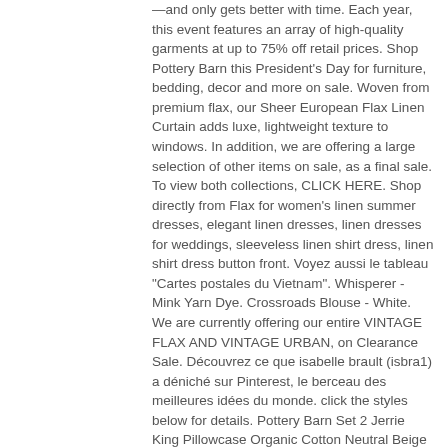—and only gets better with time. Each year, this event features an array of high-quality garments at up to 75% off retail prices. Shop Pottery Barn this President's Day for furniture, bedding, decor and more on sale. Woven from premium flax, our Sheer European Flax Linen Curtain adds luxe, lightweight texture to windows. In addition, we are offering a large selection of other items on sale, as a final sale. To view both collections, CLICK HERE. Shop directly from Flax for women's linen summer dresses, elegant linen dresses, linen dresses for weddings, sleeveless linen shirt dress, linen shirt dress button front. Voyez aussi le tableau "Cartes postales du Vietnam". Whisperer - Mink Yarn Dye. Crossroads Blouse - White. We are currently offering our entire VINTAGE FLAX AND VINTAGE URBAN, on Clearance Sale. Découvrez ce que isabelle brault (isbra1) a déniché sur Pinterest, le berceau des meilleures idées du monde. click the styles below for details. Pottery Barn Set 2 Jerrie King Pillowcase Organic Cotton Neutral Beige Flax New . POTTERY BARN Belgian Flax Linen KING Flat Sheet WHITE Excellent . 28. Classic Two returns with our favorite neutrals (black, cream and natural) in medium and handkerchief weight linens plus beautiful shades of Mink, Plum, Steel, and White available in lightweight linen only.